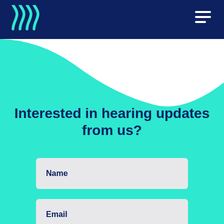Interested in hearing updates from us?
Name
Email